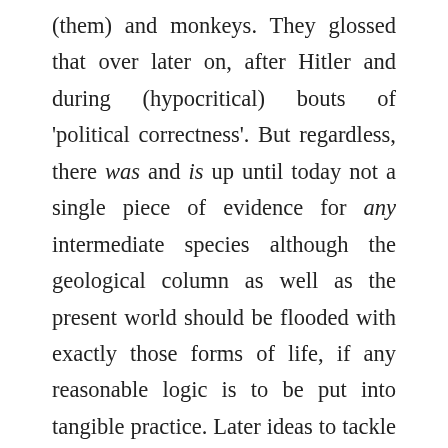(them) and monkeys. They glossed that over later on, after Hitler and during (hypocritical) bouts of 'political correctness'. But regardless, there was and is up until today not a single piece of evidence for any intermediate species although the geological column as well as the present world should be flooded with exactly those forms of life, if any reasonable logic is to be put into tangible practice. Later ideas to tackle this problem like Elliott Gould's 'hopeful monster' or anti-pope Richard Dawkins' snobby adult children fairly tales simply take the piss for those who